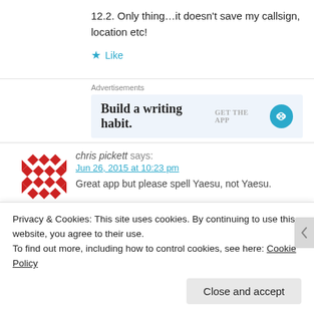12.2. Only thing…it doesn't save my callsign, location etc!
★ Like
Advertisements
[Figure (screenshot): Advertisement banner: 'Build a writing habit.' with GET THE APP button and headphone icon]
[Figure (logo): Red diamond/triangle pattern avatar for chris pickett]
chris pickett says:
Jun 26, 2015 at 10:23 pm
Great app but please spell Yaesu, not Yaesu.
Privacy & Cookies: This site uses cookies. By continuing to use this website, you agree to their use.
To find out more, including how to control cookies, see here: Cookie Policy
Close and accept